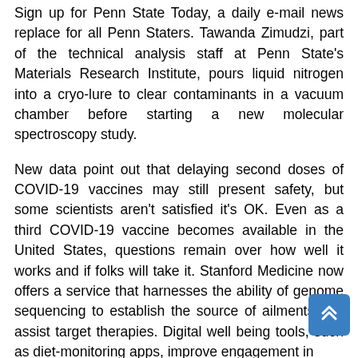Sign up for Penn State Today, a daily e-mail news replace for all Penn Staters. Tawanda Zimudzi, part of the technical analysis staff at Penn State's Materials Research Institute, pours liquid nitrogen into a cryo-lure to clear contaminants in a vacuum chamber before starting a new molecular spectroscopy study.
New data point out that delaying second doses of COVID-19 vaccines may still present safety, but some scientists aren't satisfied it's OK. Even as a third COVID-19 vaccine becomes available in the United States, questions remain over how well it works and if folks will take it. Stanford Medicine now offers a service that harnesses the ability of genome sequencing to establish the source of ailments and assist target therapies. Digital well being tools, such as diet-monitoring apps, improve engagement in